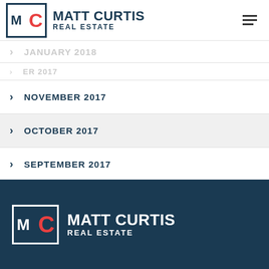[Figure (logo): Matt Curtis Real Estate logo: MC monogram in red/navy with company name]
JANUARY 2018
NOVEMBER 2017
OCTOBER 2017
SEPTEMBER 2017
OCTOBER 2015
RSS FEED
[Figure (logo): Matt Curtis Real Estate logo on dark navy footer background]